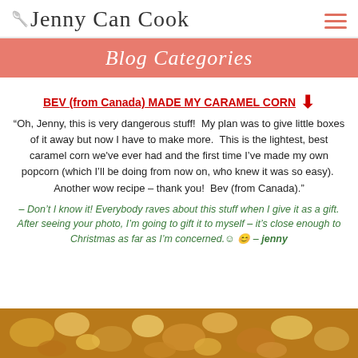Jenny Can Cook
Blog Categories
BEV (from Canada) MADE MY CARAMEL CORN
“Oh, Jenny, this is very dangerous stuff!  My plan was to give little boxes of it away but now I have to make more.  This is the lightest, best caramel corn we've ever had and the first time I’ve made my own popcorn (which I’ll be doing from now on, who knew it was so easy).  Another wow recipe – thank you!  Bev (from Canada).”
– Don’t I know it! Everybody raves about this stuff when I give it as a gift. After seeing your photo, I’m going to gift it to myself – it’s close enough to Christmas as far as I’m concerned.� é € – jenny
[Figure (photo): Close-up photo of caramel corn popcorn]